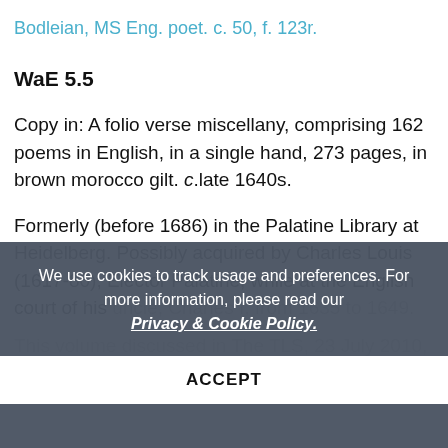Bodleian, MS Eng. poet. c. 50, f. 123r.
WaE 5.5
Copy in: A folio verse miscellany, comprising 162 poems in English, in a single hand, 273 pages, in brown morocco gilt. c.late 1640s.
Formerly (before 1686) in the Palatine Library at Heidelberg. Possibly acquired by Charles Louis (1617-80), Elector Palatine, while at the English court of his uncle, Charles I, from 1635 to 1649.
This volume discussed in The TLS, 23 July 2010, pp. 14-15, by June Schleuter and Paul Schleuter.
We use cookies to track usage and preferences. For more information, please read our Privacy & Cookie Policy.